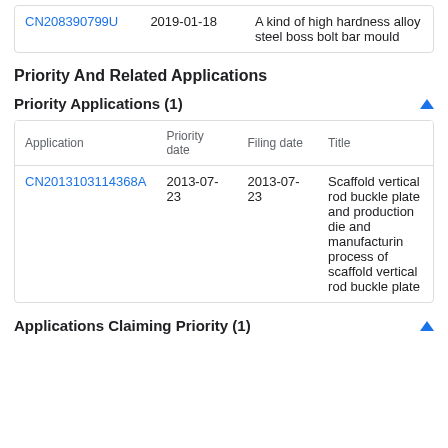| Application | Date | Title |
| --- | --- | --- |
| CN208390799U | 2019-01-18 | A kind of high hardness alloy steel boss bolt bar mould |
Priority And Related Applications
Priority Applications (1)
| Application | Priority date | Filing date | Title |
| --- | --- | --- | --- |
| CN2013103114368A | 2013-07-23 | 2013-07-23 | Scaffold vertical rod buckle plate and production die and manufacturing process of scaffold vertical rod buckle plate |
Applications Claiming Priority (1)